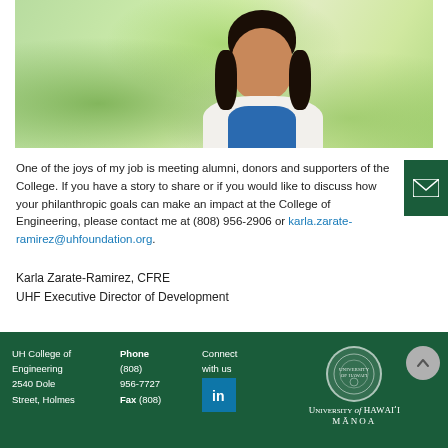[Figure (photo): Photo of Karla Zarate-Ramirez against a tropical green foliage background, wearing a white blazer and blue top.]
One of the joys of my job is meeting alumni, donors and supporters of the College. If you have a story to share or if you would like to discuss how your philanthropic goals can make an impact at the College of Engineering, please contact me at (808) 956-2906 or karla.zarate-ramirez@uhfoundation.org.
Karla Zarate-Ramirez, CFRE
UHF Executive Director of Development
UH College of Engineering 2540 Dole Street, Holmes
Phone (808) 956-7727
Fax (808)
Connect with us
UNIVERSITY of HAWAI'I MĀNOA